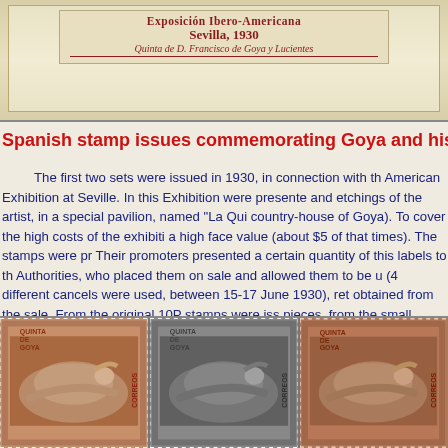[Figure (photo): Top portion showing a vintage exhibition label/envelope with red text reading 'Sevilla, 1930' and 'Quinta de D. Francisco de Goya y Lucientes' on aged paper background]
Spanish stamp issues commemorating Goya and his work
The first two sets were issued in 1930, in connection with the American Exhibition at Seville. In this Exhibition were presented and etchings of the artist, in a special pavilion, named "La Qui country-house of Goya). To cover the high costs of the exhibiti a high face value (about $5 of that times). The stamps were pr Their promoters presented a certain quantity of this labels to th Authorities, who placed them on sale and allowed them to be u (4 different cancels were used, between 15-17 June 1930), ret obtained from the sale. From the original 10P stamps were iss pieces, from the small values about 231,000. Between 1932 a original printing plates, the company Waterloo& Sons in Londo issues, that cannot be distinguished from the original ones.
[Figure (photo): Three Spanish stamps side by side showing Goya's 'La Maja Desnuda' painting - left stamp in reddish-brown color, middle stamp in dark grey/black, right stamp partially visible in brown/red, all with perforated edges and 'QUINTA GOYA' and 'CORREOS' text]